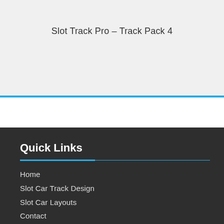Slot Track Pro – Track Pack 4
Quick Links
Home
Slot Car Track Design
Slot Car Layouts
Contact
Links
Privacy